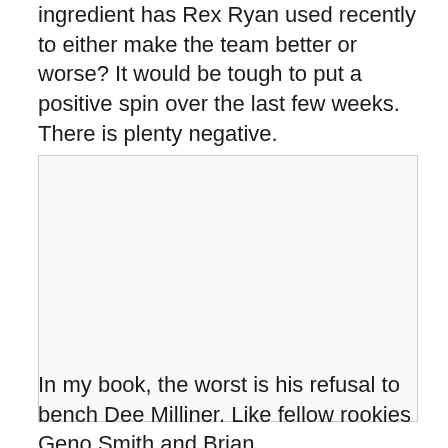Applebee's is themed about a master chef. What ingredient has Rex Ryan used recently to either make the team better or worse? It would be tough to put a positive spin over the last few weeks. There is plenty negative.
[Figure (photo): A large image placeholder with light gray background and gray border, likely a photo related to the article content.]
In my book, the worst is his refusal to bench Dee Milliner. Like fellow rookies Geno Smith and Brian